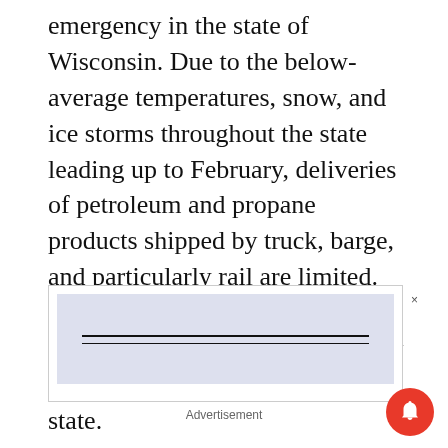emergency in the state of Wisconsin. Due to the below-average temperatures, snow, and ice storms throughout the state leading up to February, deliveries of petroleum and propane products shipped by truck, barge, and particularly rail are limited. This Executive Order will allow for the swift and efficient delivery of these products throughout the state.
[Figure (other): Advertisement placeholder box with light purple/blue background and two horizontal black lines, with a close (×) button on the right side.]
Advertisement